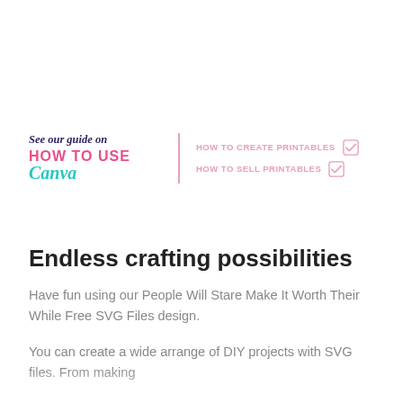[Figure (infographic): Promotional banner: 'See our guide on HOW TO USE Canva' on the left with a vertical pink divider, and two links on the right: 'HOW TO CREATE PRINTABLES' and 'HOW TO SELL PRINTABLES', each with a pink checkbox icon.]
Endless crafting possibilities
Have fun using our People Will Stare Make It Worth Their While Free SVG Files design.
You can create a wide arrange of DIY projects with SVG files. From making